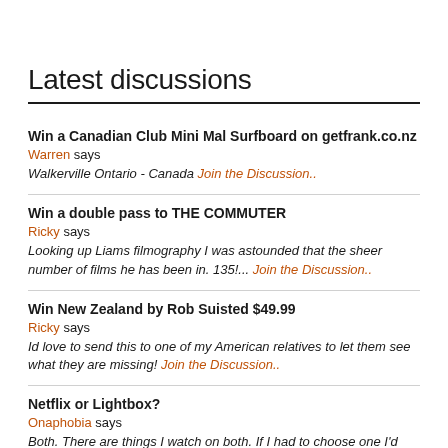Latest discussions
Win a Canadian Club Mini Mal Surfboard on getfrank.co.nz
Warren says
Walkerville Ontario - Canada Join the Discussion..
Win a double pass to THE COMMUTER
Ricky says
Looking up Liams filmography I was astounded that the sheer number of films he has been in. 135!... Join the Discussion..
Win New Zealand by Rob Suisted $49.99
Ricky says
Id love to send this to one of my American relatives to let them see what they are missing! Join the Discussion..
Netflix or Lightbox?
Onaphobia says
Both. There are things I watch on both. If I had to choose one I'd pick Netflix, but